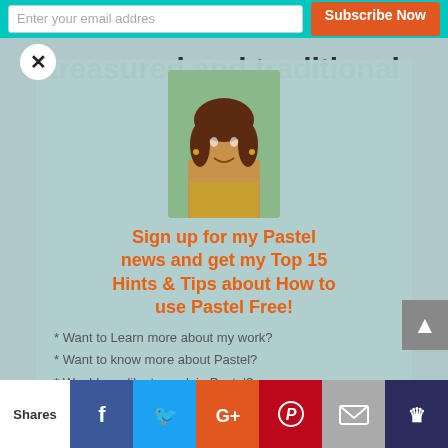Enter your email address | Subscribe Now
treasured and traditional
[Figure (photo): Profile photo of a woman with brown hair]
Sign up for my Pastel news and get my Top 15 Hints & Tips about How to use Pastel Free!
* Want to Learn more about my work?
* Want to know more about Pastel?
* Would you like to work in Pastel?
* Would you like info on my future pastel and
Shares | Facebook | Twitter | Google+ | Pinterest | Mail | Crown